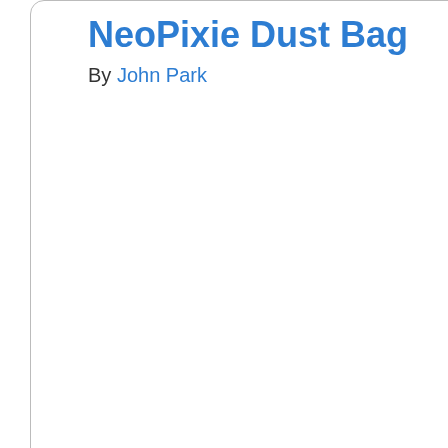NeoPixie Dust Bag
By John Park
43  Intermediate
Fi... C...
By